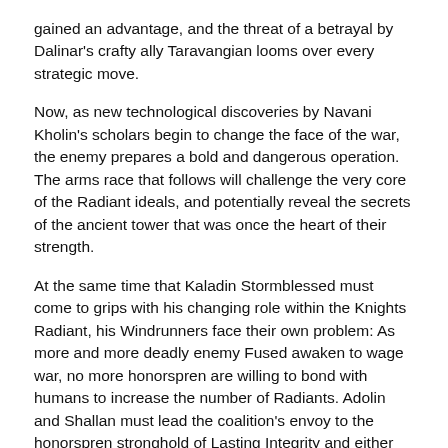gained an advantage, and the threat of a betrayal by Dalinar's crafty ally Taravangian looms over every strategic move.
Now, as new technological discoveries by Navani Kholin's scholars begin to change the face of the war, the enemy prepares a bold and dangerous operation. The arms race that follows will challenge the very core of the Radiant ideals, and potentially reveal the secrets of the ancient tower that was once the heart of their strength.
At the same time that Kaladin Stormblessed must come to grips with his changing role within the Knights Radiant, his Windrunners face their own problem: As more and more deadly enemy Fused awaken to wage war, no more honorspren are willing to bond with humans to increase the number of Radiants. Adolin and Shallan must lead the coalition's envoy to the honorspren stronghold of Lasting Integrity and either convince the spren to join the cause against the evil god Odium, or personally face the storm of failure.
Other Tor books by Brandon Sanderson
The S